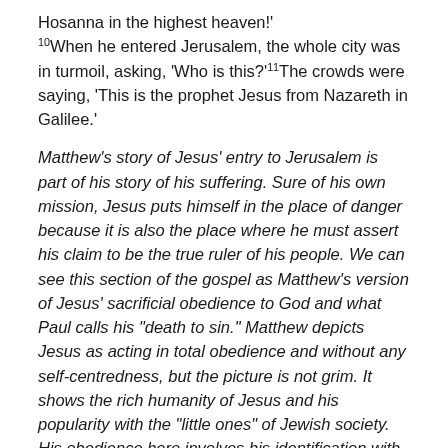Hosanna in the highest heaven!' 10When he entered Jerusalem, the whole city was in turmoil, asking, 'Who is this?'11The crowds were saying, 'This is the prophet Jesus from Nazareth in Galilee.'
Matthew's story of Jesus' entry to Jerusalem is part of his story of his suffering. Sure of his own mission, Jesus puts himself in the place of danger because it is also the place where he must assert his claim to be the true ruler of his people. We can see this section of the gospel as Matthew's version of Jesus' sacrificial obedience to God and what Paul calls his "death to sin." Matthew depicts Jesus as acting in total obedience and without any self-centredness, but the picture is not grim. It shows the rich humanity of Jesus and his popularity with the "little ones" of Jewish society. His obedience here involves his identification with Zechariah's prophecy of a king of peace